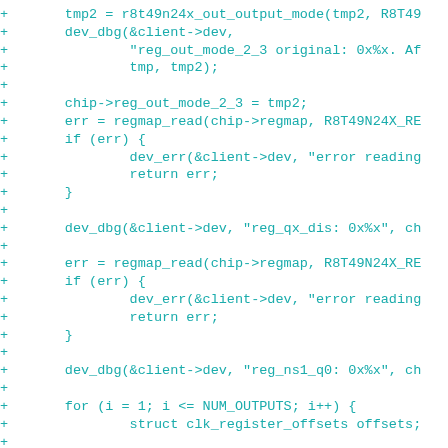Code diff showing C kernel driver code with regmap_read calls, dev_dbg, dev_err, and a for loop iterating over NUM_OUTPUTS with clk_register_offsets and r8t49n24x_get_offsets.